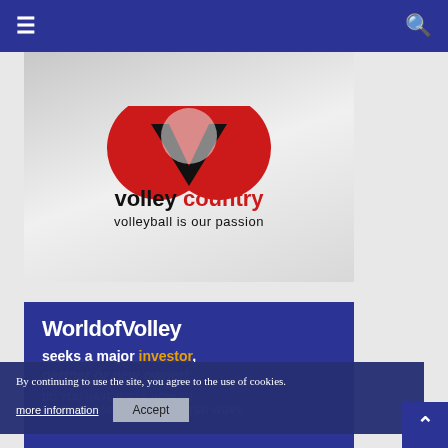Navigation bar with hamburger menu and search icon
[Figure (logo): Volley Country logo — red and black V-shape icon above 'volley country' text (volley in black, country in red) with tagline 'volleyball is our passion' on a grey gradient background]
[Figure (infographic): WorldofVolley seeks a major investor, partner or new owner! banner on dark blue background. Includes partially visible text: DO YOU HAVE IDEAS HOW TO DEVELOP AND MANAGE BETTER WOV?]
By continuing to use the site, you agree to the use of cookies.
more information
Accept